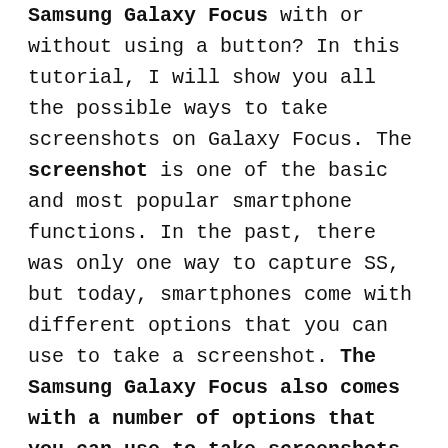Samsung Galaxy Focus with or without using a button? In this tutorial, I will show you all the possible ways to take screenshots on Galaxy Focus. The screenshot is one of the basic and most popular smartphone functions. In the past, there was only one way to capture SS, but today, smartphones come with different options that you can use to take a screenshot. The Samsung Galaxy Focus also comes with a number of options that you can use to take screenshots, and we will share them in this tutorial. Without further ado, let's get started.